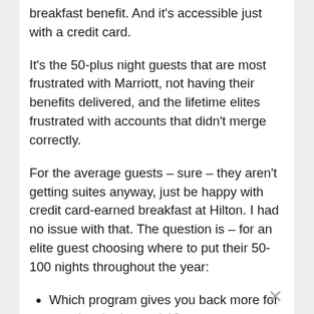breakfast benefit. And it's accessible just with a credit card.
It's the 50-plus night guests that are most frustrated with Marriott, not having their benefits delivered, and the lifetime elites frustrated with accounts that didn't merge correctly.
For the average guests – sure – they aren't getting suites anyway, just be happy with credit card-earned breakfast at Hilton. I had no issue with that. The question is – for an elite guest choosing where to put their 50-100 nights throughout the year:
Which program gives you back more for your loyalty (rewards)?
Which program treats them better while